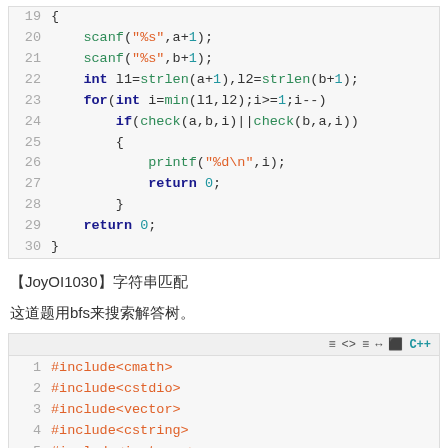[Figure (screenshot): Code block showing lines 19-30 of C++ code with syntax highlighting: scanf, strlen, for loop, if check, printf, return statements]
【JoyOI1030】字符串匹配
这道题用bfs来搜索解答树。
[Figure (screenshot): Code block showing lines 1-5 of C++ code with #include statements: cmath, cstdio, vector, cstring, iostream]